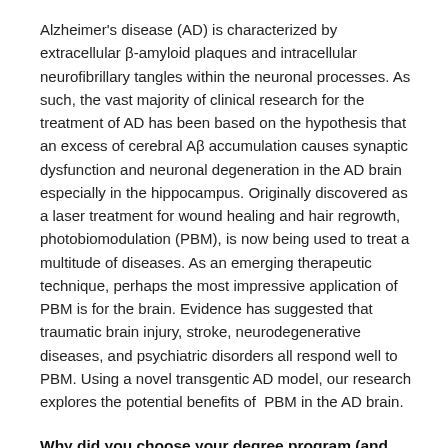Alzheimer's disease (AD) is characterized by extracellular β-amyloid plaques and intracellular neurofibrillary tangles within the neuronal processes. As such, the vast majority of clinical research for the treatment of AD has been based on the hypothesis that an excess of cerebral Aβ accumulation causes synaptic dysfunction and neuronal degeneration in the AD brain especially in the hippocampus. Originally discovered as a laser treatment for wound healing and hair regrowth, photobiomodulation (PBM), is now being used to treat a multitude of diseases. As an emerging therapeutic technique, perhaps the most impressive application of PBM is for the brain. Evidence has suggested that traumatic brain injury, stroke, neurodegenerative diseases, and psychiatric disorders all respond well to PBM. Using a novel transgentic AD model, our research explores the potential benefits of PBM in the AD brain.
Why did you choose your degree program (and biomedical research at AU)?